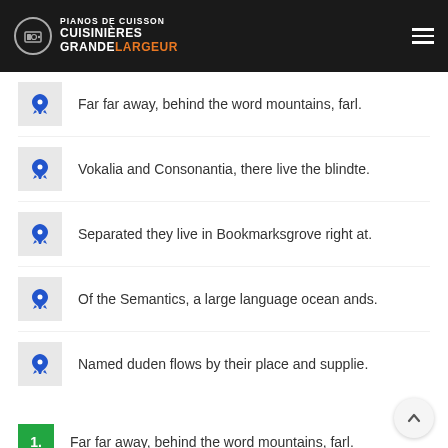PIANOS DE CUISSON CUISINIÈRES GRANDE LARGEUR
Far far away, behind the word mountains, farl.
Vokalia and Consonantia, there live the blindte.
Separated they live in Bookmarksgrove right at.
Of the Semantics, a large language ocean ands.
Named duden flows by their place and supplie.
1. Far far away, behind the word mountains, farl.
2. Vokalia and Consonantia, there live the blindte.
3. Separated they live in Bookmarksgrove right at.
4. Of the Semantics, a large language ocean ands.
5. Named duden flows by their place and supplie.